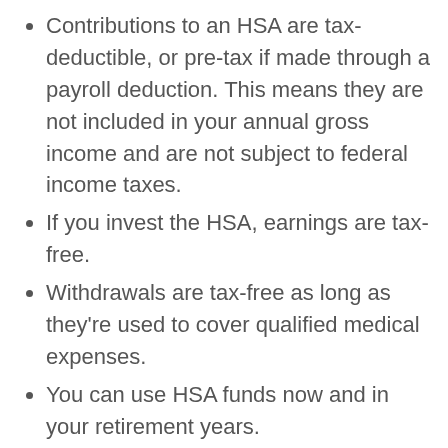Contributions to an HSA are tax-deductible, or pre-tax if made through a payroll deduction. This means they are not included in your annual gross income and are not subject to federal income taxes.
If you invest the HSA, earnings are tax-free.
Withdrawals are tax-free as long as they're used to cover qualified medical expenses.
You can use HSA funds now and in your retirement years.
You, an employer, a relative or others can contribute to your HSA.
There are no time constraints for spending the funds. If you have money left in your HSA at the end of the year, it rolls over so you can use it the following year.